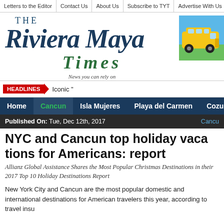Letters to the Editor | Contact Us | About Us | Subscribe to TYT | Advertise With Us
[Figure (logo): The Riviera Maya Times newspaper logo with tagline 'News you can rely on']
[Figure (illustration): School bus cartoon advertisement]
HEADLINES Iconic "
Home | Cancun | Isla Mujeres | Playa del Carmen | Cozumel
Published On: Tue, Dec 12th, 2017
NYC and Cancun top holiday vacation destinations for Americans: report
Allianz Global Assistance Shares the Most Popular Christmas Destinations in their 2017 Top 10 Holiday Destinations Report
New York City and Cancun are the most popular domestic and international destinations for American travelers this year, according to travel insurer